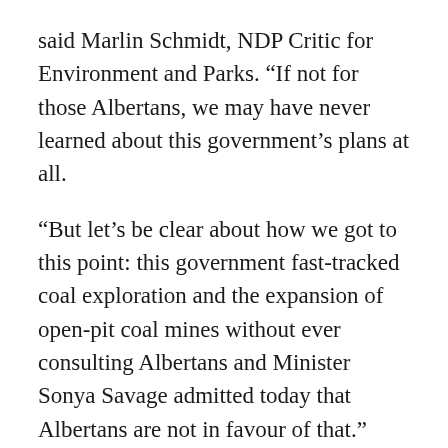said Marlin Schmidt, NDP Critic for Environment and Parks. “If not for those Albertans, we may have never learned about this government’s plans at all.
“But let’s be clear about how we got to this point: this government fast-tracked coal exploration and the expansion of open-pit coal mines without ever consulting Albertans and Minister Sonya Savage admitted today that Albertans are not in favour of that.”
Despite today’s step, Savage did not change the terms of reference on her flawed consultation to include matters related to land-use and or water. In fact, she said such matters were “well beyond